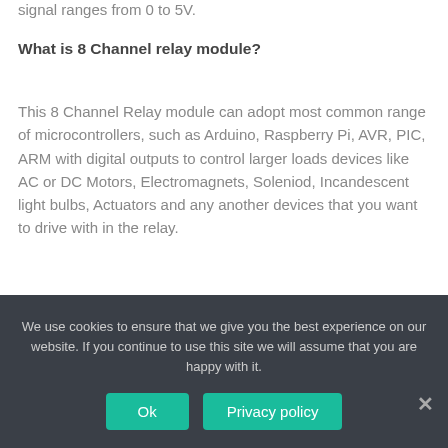signal ranges from 0 to 5V.
What is 8 Channel relay module?
This 8 Channel Relay module can adopt most common range of microcontrollers, such as Arduino, Raspberry Pi, AVR, PIC, ARM with digital outputs to control larger loads devices like AC or DC Motors, Electromagnets, Soleniod, Incandescent light bulbs, Actuators and any another devices that you want to drive with in the relay.
How many channels does an Arduino relay module have?
We use cookies to ensure that we give you the best experience on our website. If you continue to use this site we will assume that you are happy with it.